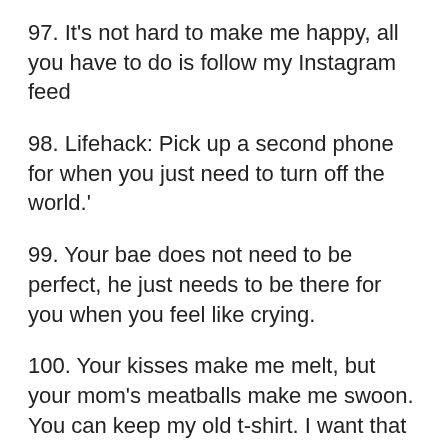97. It's not hard to make me happy, all you have to do is follow my Instagram feed
98. Lifehack: Pick up a second phone for when you just need to turn off the world.'
99. Your bae does not need to be perfect, he just needs to be there for you when you feel like crying.
100. Your kisses make me melt, but your mom's meatballs make me swoon. You can keep my old t-shirt. I want that